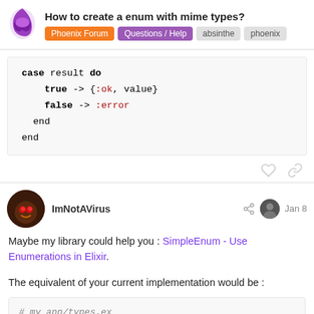How to create a enum with mime types? | Phoenix Forum | Questions / Help | absinthe | phoenix
[Figure (screenshot): Elixir code block showing case result do / true -> {:ok, value} / false -> :error / end / end]
ImNotAVirus  Jan 8
Maybe my library could help you : SimpleEnum - Use Enumerations in Elixir.
The equivalent of your current implementation would be :
[Figure (screenshot): Code block showing # my_app/types.ex and start of defmodule MyApp.Types do]
2 / 4